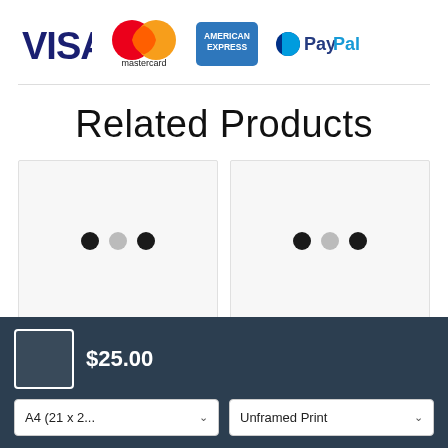[Figure (logo): Payment method logos: Visa, Mastercard, American Express, PayPal]
Related Products
[Figure (screenshot): Two product card placeholders with three-dot carousel indicators]
$25.00
A4 (21 x 2... ∨
Unframed Print ∨